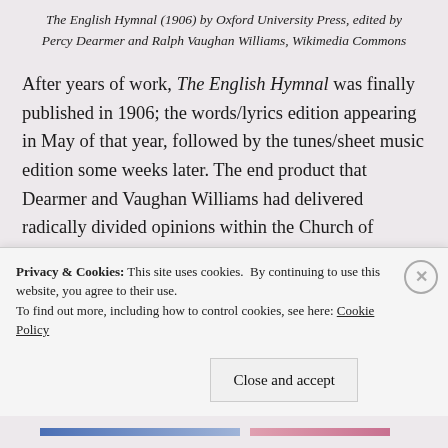The English Hymnal (1906) by Oxford University Press, edited by Percy Dearmer and Ralph Vaughan Williams, Wikimedia Commons
After years of work, The English Hymnal was finally published in 1906; the words/lyrics edition appearing in May of that year, followed by the tunes/sheet music edition some weeks later. The end product that Dearmer and Vaughan Williams had delivered radically divided opinions within the Church of England.  The book's more Catholic undertones, especially regarding the Virgin Mary and the
Privacy & Cookies: This site uses cookies.  By continuing to use this website, you agree to their use.
To find out more, including how to control cookies, see here: Cookie Policy